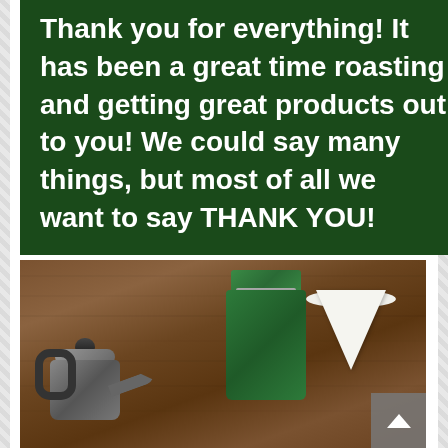Thank you for everything! It has been a great time roasting and getting great products out to you! We could say many things, but most of all we want to say THANK YOU!
[Figure (photo): Photo of coffee brewing equipment on a wooden surface: a pour-over kettle on the left, a green coffee bag in the center, and a white paper coffee filter on the right. A gray scroll-to-top button is visible in the bottom-right corner.]